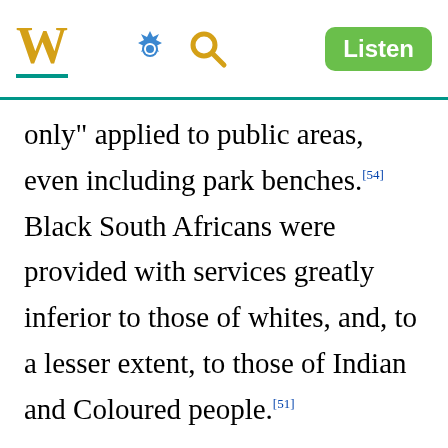W [gear icon] [search icon] Listen
only" applied to public areas, even including park benches.[54] Black South Africans were provided with services greatly inferior to those of whites, and, to a lesser extent, to those of Indian and Coloured people.[51]
Further laws had the aim of suppressing resistance, especially armed resistance, to apartheid. The Suppression of Communism Act of 1950 banned any…